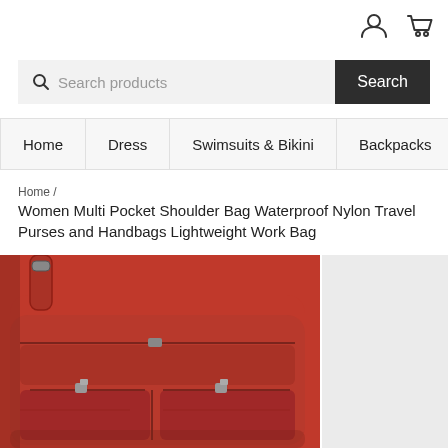[Figure (other): User account icon and shopping cart icon in top right header]
[Figure (other): Search bar with magnifying glass icon, placeholder text 'Search products', and dark 'Search' button]
Home | Dress | Swimsuits & Bikini | Backpacks | Clothing
Home /
Women Multi Pocket Shoulder Bag Waterproof Nylon Travel Purses and Handbags Lightweight Work Bag
[Figure (photo): Close-up photo of a red nylon shoulder bag with multiple zippered pockets and a crossbody strap]
[Figure (photo): Light grey thumbnail/secondary product image area on the right side]